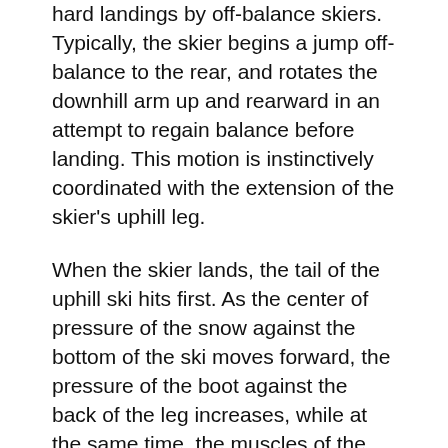hard landings by off-balance skiers. Typically, the skier begins a jump off-balance to the rear, and rotates the downhill arm up and rearward in an attempt to regain balance before landing. This motion is instinctively coordinated with the extension of the skier's uphill leg.
When the skier lands, the tail of the uphill ski hits first. As the center of pressure of the snow against the bottom of the ski moves forward, the pressure of the boot against the back of the leg increases, while at the same time, the muscles of the skier's leg automatically contract to hold the leg in a fully extended position. By the time the portion of the ski under the boot heel hits the snow, there is no laxity left in the system to absorb the jarring impact and the back of the boot is able to drive the tibia out from under the femur, thereby tearing the ACL. To avoid this type of injury, skiers should avoid any